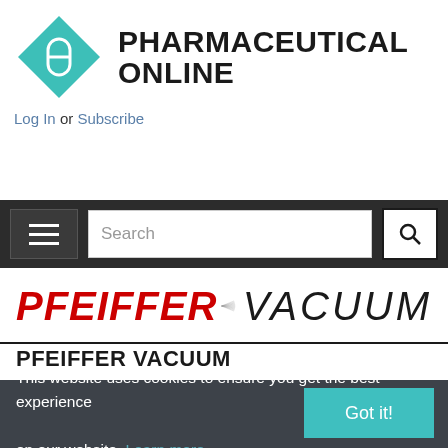[Figure (logo): Pharmaceutical Online logo: teal diamond shape with a pill icon and bold text PHARMACEUTICAL ONLINE]
Log In or Subscribe
[Figure (screenshot): Navigation bar with hamburger menu, search box, and search button on dark background]
[Figure (logo): Pfeiffer Vacuum logo: PFEIFFER in red italic bold font, speed lines graphic, VACUUM in dark italic font]
PFEIFFER VACUUM
This website uses cookies to ensure you get the best experience on our website. Learn more